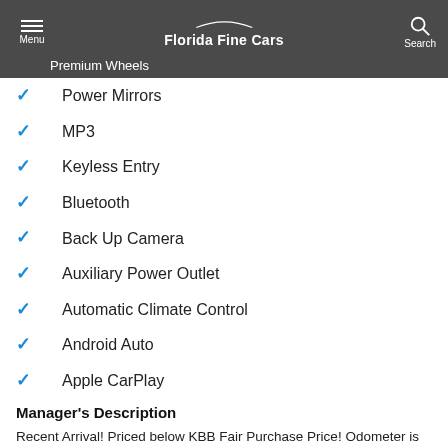Florida Fine Cars — Menu / Search header
Premium Wheels
Power Mirrors
MP3
Keyless Entry
Bluetooth
Back Up Camera
Auxiliary Power Outlet
Automatic Climate Control
Android Auto
Apple CarPlay
Manager's Description
Recent Arrival! Priced below KBB Fair Purchase Price! Odometer is 9871 miles below market average!
BBB Accredited A+, We Accept Trade-Ins, FINANCING AVAILABLE!!,